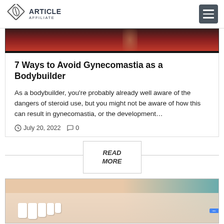ARTICLE AFFILIATE
[Figure (photo): Partial top image of article card – reddish/dark background, cropped person visible]
7 Ways to Avoid Gynecomastia as a Bodybuilder
As a bodybuilder, you're probably already well aware of the dangers of steroid use, but you might not be aware of how this can result in gynecomastia, or the development…
July 20, 2022  0
READ MORE
[Figure (photo): Close-up photo of a person smiling showing teeth, background transitions from skin tone to teal]